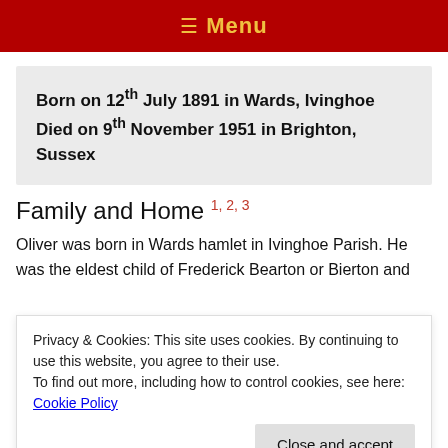≡ Menu
Born on 12th July 1891 in Wards, Ivinghoe
Died on 9th November 1951 in Brighton, Sussex
Family and Home 1, 2, 3
Oliver was born in Wards hamlet in Ivinghoe Parish. He was the eldest child of Frederick Bearton or Bierton and
Privacy & Cookies: This site uses cookies. By continuing to use this website, you agree to their use.
To find out more, including how to control cookies, see here: Cookie Policy